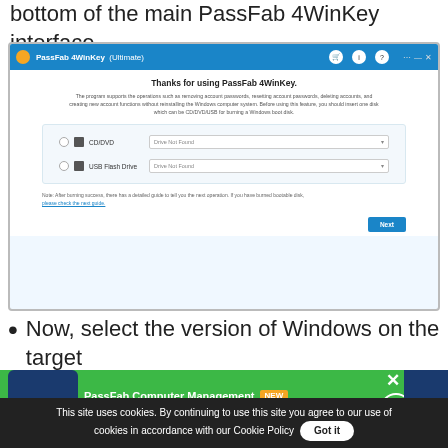bottom of the main PassFab 4WinKey interface.
[Figure (screenshot): Screenshot of PassFab 4WinKey (Ultimate) application showing the main interface with options to select CD/DVD or USB Flash Drive, both showing 'Drive Not Found', with a Next button at bottom right.]
Now, select the version of Windows on the target
[Figure (infographic): PassFab Computer Management advertisement banner with green background, showing 'Boot Up Unbootable Computer, Password Reset, Data Recovery in One Software Suite!' with NEW badge]
This site uses cookies. By continuing to use this site you agree to our use of cookies in accordance with our Cookie Policy